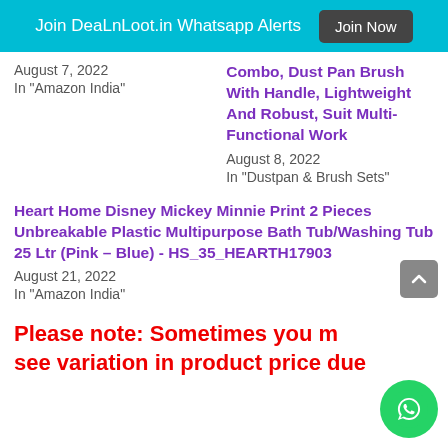Join DeaLnLoot.in Whatsapp Alerts   Join Now
August 7, 2022
In "Amazon India"
Combo, Dust Pan Brush With Handle, Lightweight And Robust, Suit Multi-Functional Work
August 8, 2022
In "Dustpan & Brush Sets"
Heart Home Disney Mickey Minnie Print 2 Pieces Unbreakable Plastic Multipurpose Bath Tub/Washing Tub 25 Ltr (Pink – Blue) - HS_35_HEARTH17903
August 21, 2022
In "Amazon India"
Please note: Sometimes you may see variation in product price due